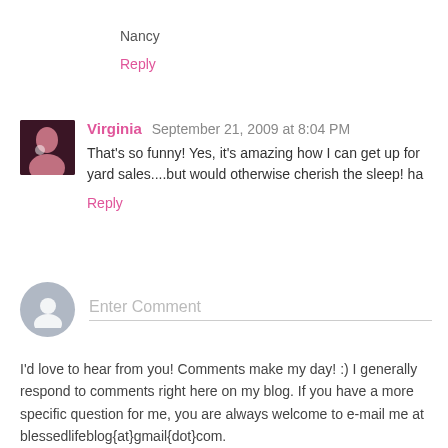Nancy
Reply
Virginia  September 21, 2009 at 8:04 PM
That's so funny! Yes, it's amazing how I can get up for yard sales....but would otherwise cherish the sleep! ha
Reply
Enter Comment
I'd love to hear from you! Comments make my day! :) I generally respond to comments right here on my blog. If you have a more specific question for me, you are always welcome to e-mail me at blessedlifeblog{at}gmail{dot}com.